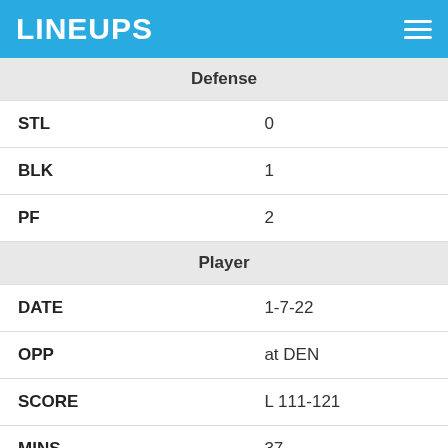LINEUPS
| Defense |  |
| STL | 0 |
| BLK | 1 |
| PF | 2 |
| Player |  |
| DATE | 1-7-22 |
| OPP | at DEN |
| SCORE | L 111-121 |
| MINS | 37 |
| Fantasy Points |  |
| FPTS | 46.9 |
| FPTS/MIN | 1.3 |
| Offense |  |